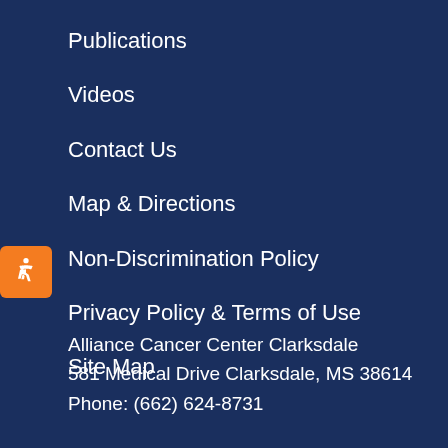Publications
Videos
Contact Us
Map & Directions
Non-Discrimination Policy
Privacy Policy & Terms of Use
Site Map
Alliance Cancer Center Clarksdale
581 Medical Drive Clarksdale, MS 38614
Phone: (662) 624-8731